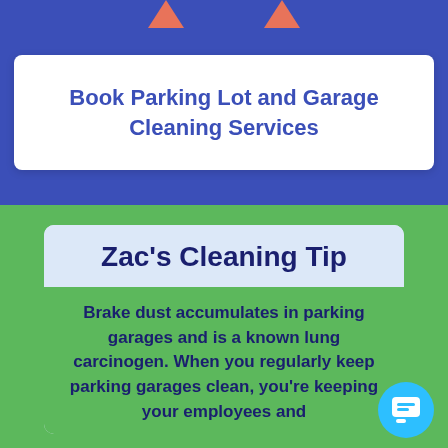[Figure (illustration): Two upward-pointing coral/salmon colored arrows at the top of blue section]
Book Parking Lot and Garage Cleaning Services
Zac's Cleaning Tip
Brake dust accumulates in parking garages and is a known lung carcinogen. When you regularly keep parking garages clean, you're keeping your employees and